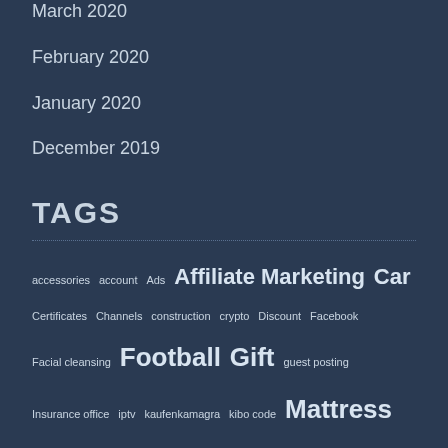March 2020
February 2020
January 2020
December 2019
TAGS
accessories account Ads Affiliate Marketing Car Certificates Channels construction crypto Discount Facebook Facial cleansing Football Gift guest posting Insurance office iptv kaufenkamagra kibo code Mattress medical school Medicine Merchandise Mobile Phones Online Store Poster Stands Printing service Product